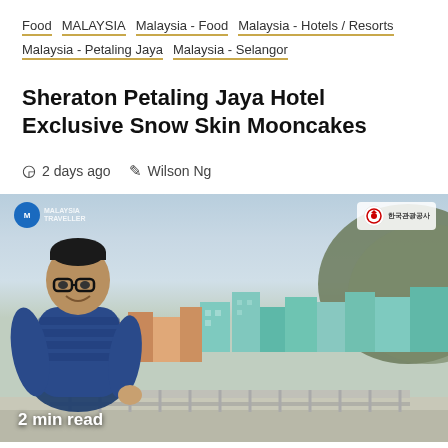Food  MALAYSIA  Malaysia - Food  Malaysia - Hotels / Resorts  Malaysia - Petaling Jaya  Malaysia - Selangor
Sheraton Petaling Jaya Hotel Exclusive Snow Skin Mooncakes
2 days ago   Wilson Ng
[Figure (photo): A man in a blue puffer jacket standing on a viewpoint with a colorful hillside village cityscape in the background (likely Gamcheon Culture Village, Busan, Korea). A blue logo watermark is in the top left and a red/white Korean organization logo is in the top right. '2 min read' text overlay is at the bottom left.]